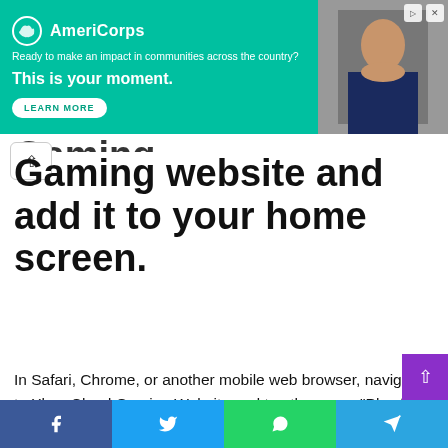[Figure (screenshot): AmeriCorps advertisement banner with teal background. Logo with circular icon and 'AmeriCorps' text. Tagline: 'Ready to make an impact in communities across the country?' Headline: 'This is your moment.' with a 'LEARN MORE' button. Right side shows a photo of a person.]
Gaming website and add it to your home screen.
In Safari, Chrome, or another mobile web browser, navigate to Xbox Cloud Gaming Website and tap the green "Play for Free" button below the Fortnite logo. If you haven't signed in to your Microsoft account yet, do so now. An Xbox account is also required to play all games, so if you're asked to create an Xbox account, do so.
Then press the green "Get ready to play" button – a